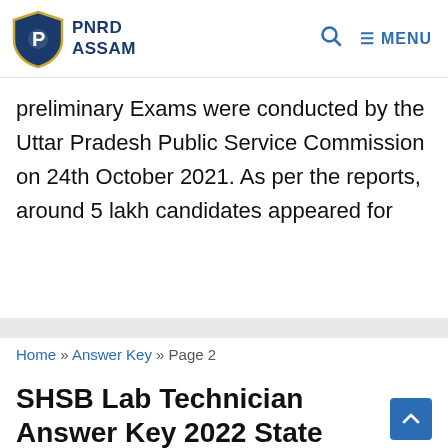PNRD ASSAM
preliminary Exams were conducted by the Uttar Pradesh Public Service Commission on 24th October 2021. As per the reports, around 5 lakh candidates appeared for
Home » Answer Key » Page 2
SHSB Lab Technician Answer Key 2022 State Health Society Bihar NHM LT